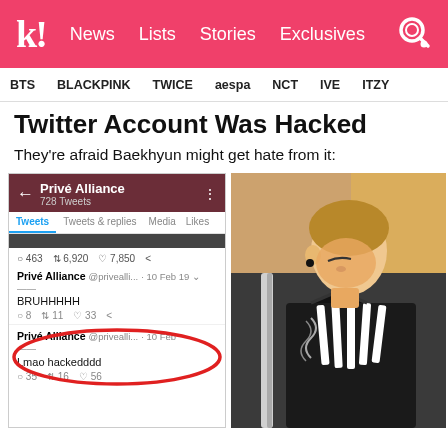k! News Lists Stories Exclusives
BTS BLACKPINK TWICE aespa NCT IVE ITZY
Twitter Account Was Hacked
They're afraid Baekhyun might get hate from it:
[Figure (screenshot): Twitter profile screenshot of Privé Alliance account (728 Tweets) showing tweets including 'BRUHHHHH' and 'Lmao hackedddd', with the 'Lmao hackedddd' tweet circled in red oval]
[Figure (photo): Photo of Baekhyun (EXO member) in black military-style outfit looking downward]